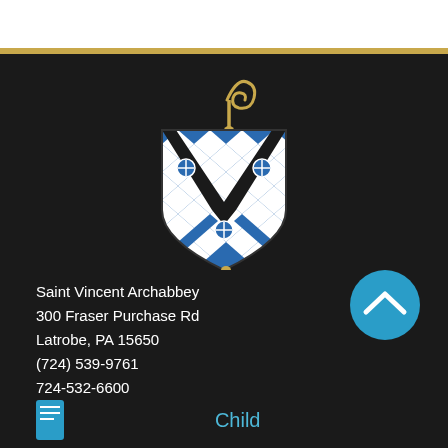[Figure (logo): Saint Vincent Archabbey heraldic shield logo with crozier on top — blue and white diamond pattern with black chevron, gold crozier staff above and gold finial below, on dark background]
Saint Vincent Archabbey
300 Fraser Purchase Rd
Latrobe, PA 15650
(724) 539-9761
724-532-6600
[Figure (illustration): Blue circular button with white upward chevron arrow]
Child